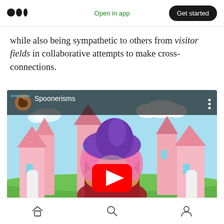Medium logo | Open in app | Get started
while also being sympathetic to others from visitor fields in collaborative attempts to make cross-connections.
[Figure (screenshot): YouTube video thumbnail showing a person wearing a purple satin hat and pink feathery accessories in front of a colorful cartoon castle background. The video is titled 'Spoonerisms' from the brainspace channel. A red YouTube play button is centered on the thumbnail.]
Home | Search | Profile navigation icons